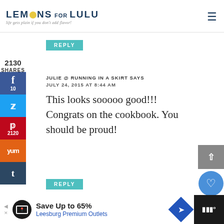LEMONS FOR LULU — life gets plain if you don't add flavor!
REPLY
2130 SHARES
[Figure (infographic): Social media sharing sidebar with Facebook (10), Twitter, Pinterest (2120), Yummly, and Tumblr buttons]
JULIE @ RUNNING IN A SKIRT SAYS
JULY 24, 2015 AT 8:44 AM
This looks sooooo good!!! Congrats on the cookbook. You should be proud!
REPLY
[Figure (infographic): Right side widgets: scroll-to-top arrow button, heart/love button, 2.2K count, share button]
[Figure (infographic): Advertisement banner: Save Up to 65% Leesburg Premium Outlets with logo and navigation arrow icon]